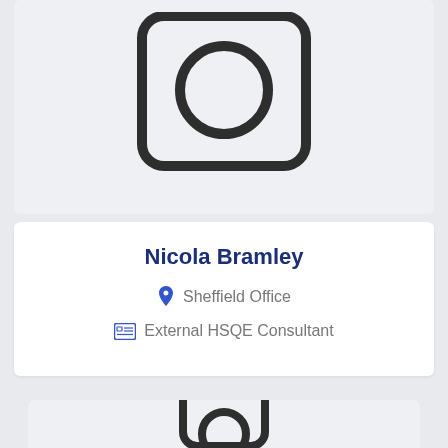[Figure (illustration): Placeholder avatar icon — rounded square with a circle (head) inside, on a light grey background. Top card, partially cropped at top.]
Nicola Bramley
Sheffield Office
External HSQE Consultant
[Figure (illustration): Placeholder avatar icon — rounded square with a circle (head) partially visible at bottom, on a light grey background. Bottom card, partially cropped.]